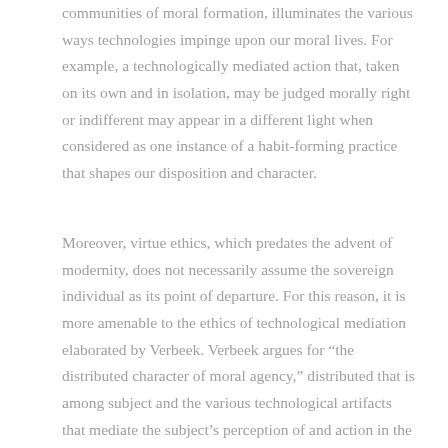communities of moral formation, illuminates the various ways technologies impinge upon our moral lives. For example, a technologically mediated action that, taken on its own and in isolation, may be judged morally right or indifferent may appear in a different light when considered as one instance of a habit-forming practice that shapes our disposition and character.
Moreover, virtue ethics, which predates the advent of modernity, does not necessarily assume the sovereign individual as its point of departure. For this reason, it is more amenable to the ethics of technological mediation elaborated by Verbeek. Verbeek argues for “the distributed character of moral agency,” distributed that is among subject and the various technological artifacts that mediate the subject’s perception of and action in the world.